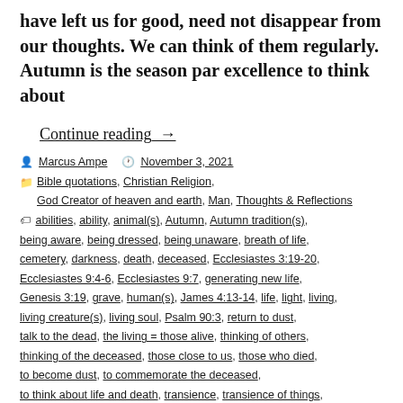have left us for good, need not disappear from our thoughts. We can think of them regularly. Autumn is the season par excellence to think about
Continue reading →
By Marcus Ampe  November 3, 2021
Bible quotations, Christian Religion, God Creator of heaven and earth, Man, Thoughts & Reflections
abilities, ability, animal(s), Autumn, Autumn tradition(s), being aware, being dressed, being unaware, breath of life, cemetery, darkness, death, deceased, Ecclesiastes 3:19-20, Ecclesiastes 9:4-6, Ecclesiastes 9:7, generating new life, Genesis 3:19, grave, human(s), James 4:13-14, life, light, living, living creature(s), living soul, Psalm 90:3, return to dust, talk to the dead, the living = those alive, thinking of others, thinking of the deceased, those close to us, those who died, to become dust, to commemorate the deceased, to think about life and death, transience, transience of things, transition from life to death, wild roast